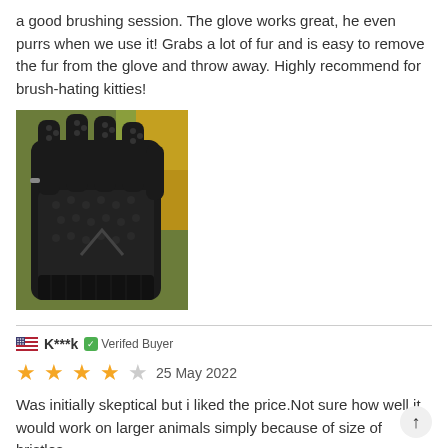a good brushing session. The glove works great, he even purrs when we use it! Grabs a lot of fur and is easy to remove the fur from the glove and throw away. Highly recommend for brush-hating kitties!
[Figure (photo): Close-up photo of a black rubber pet grooming glove with rubber bristles/nubs on the palm and fingers, held against an outdoor background with autumn leaves.]
K***k  Verifed Buyer
25 May 2022
Was initially skeptical but i liked the price.Not sure how well it would work on larger animals simply because of size of bristles.